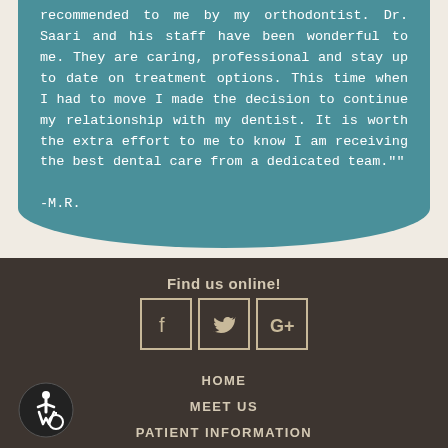recommended to me by my orthodontist. Dr. Saari and his staff have been wonderful to me. They are caring, professional and stay up to date on treatment options. This time when I had to move I made the decision to continue my relationship with my dentist. It is worth the extra effort to me to know I am receiving the best dental care from a dedicated team.""
-M.R.
Find us online!
[Figure (infographic): Social media icons: Facebook, Twitter, Google+]
HOME
MEET US
PATIENT INFORMATION
TREATMENTS
[Figure (illustration): Wheelchair accessibility icon in black circle]